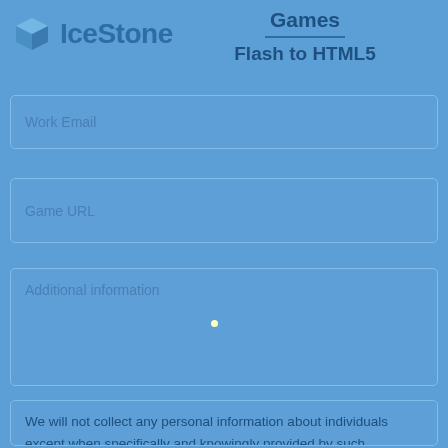Games
Flash to HTML5
[Figure (logo): IceStone logo with blue 3D cube icon and text 'IceStone' in blue]
Work Email
Game URL
Additional information
We will not collect any personal information about individuals except when specifically and knowingly provided by such individuals. Examples of such information are: name, postal address, e-mail